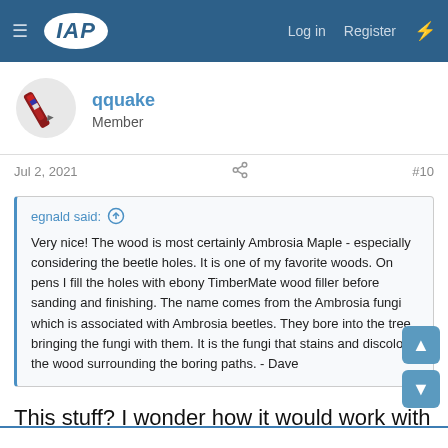IAP  Log in  Register
[Figure (logo): User avatar image of a pen/stylus]
qquake
Member
Jul 2, 2021  #10
egnald said: ↑

Very nice! The wood is most certainly Ambrosia Maple - especially considering the beetle holes. It is one of my favorite woods. On pens I fill the holes with ebony TimberMate wood filler before sanding and finishing. The name comes from the Ambrosia fungi which is associated with Ambrosia beetles. They bore into the tree bringing the fungi with them. It is the fungi that stains and discolors the wood surrounding the boring paths. - Dave
This stuff? I wonder how it would work with Pens Plus.